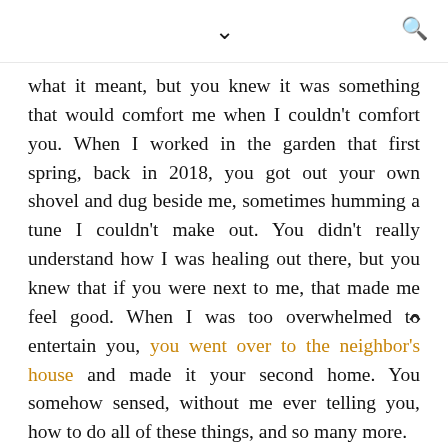▾  🔍
what it meant, but you knew it was something that would comfort me when I couldn't comfort you. When I worked in the garden that first spring, back in 2018, you got out your own shovel and dug beside me, sometimes humming a tune I couldn't make out. You didn't really understand how I was healing out there, but you knew that if you were next to me, that made me feel good. When I was too overwhelmed to entertain you, you went over to the neighbor's house and made it your second home. You somehow sensed, without me ever telling you, how to do all of these things, and so many more.
Eventually, when Chris arrived, you were overjoyed. You loved talking with him and working in the yard